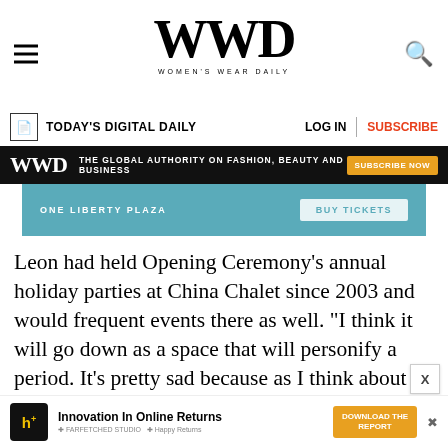WWD — Women's Wear Daily
TODAY'S DIGITAL DAILY   LOG IN   SUBSCRIBE
[Figure (infographic): WWD black banner: THE GLOBAL AUTHORITY ON FASHION, BEAUTY AND BUSINESS — SUBSCRIBE NOW button]
[Figure (infographic): Teal advertisement banner showing ONE LIBERTY PLAZA and BUY TICKETS button]
Leon had held Opening Ceremony’s annual holiday parties at China Chalet since 2003 and would frequent events there as well. “I think it will go down as a space that will personify a period. It’s pretty sad because as I think about what place I would want to go right after coronavirus, China Chalet was on that list of places to have fun and see something familiar,” he said.
[Figure (infographic): Bottom advertisement: h+ cube logo, Innovation In Online Returns, DOWNLOAD THE REPORT button]